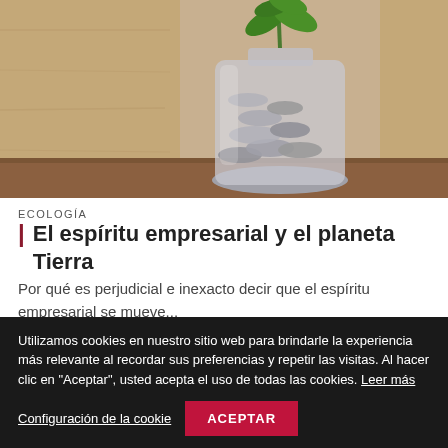[Figure (photo): A glass jar filled with coins and a small green plant growing out of the top, placed on a wooden surface with a blurred background.]
ECOLOGÍA
El espíritu empresarial y el planeta Tierra
Por qué es perjudicial e inexacto decir que el espíritu empresarial se mueve...
Utilizamos cookies en nuestro sitio web para brindarle la experiencia más relevante al recordar sus preferencias y repetir las visitas. Al hacer clic en "Aceptar", usted acepta el uso de todas las cookies. Leer más
Configuración de la cookie
ACEPTAR